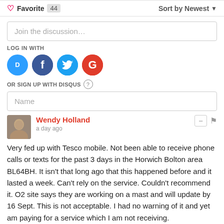♡ Favorite 44   Sort by Newest ▼
Join the discussion…
LOG IN WITH
[Figure (logo): Four social login icons: Disqus (blue speech bubble D), Facebook (dark blue F), Twitter (light blue bird), Google (red G)]
OR SIGN UP WITH DISQUS ?
Name
Wendy Holland
a day ago
Very fed up with Tesco mobile. Not been able to receive phone calls or texts for the past 3 days in the Horwich Bolton area BL64BH. It isn't that long ago that this happened before and it lasted a week. Can't rely on the service. Couldn't recommend it. O2 site says they are working on a mast and will update by 16 Sept. This is not acceptable. I had no warning of it and yet am paying for a service which I am not receiving.